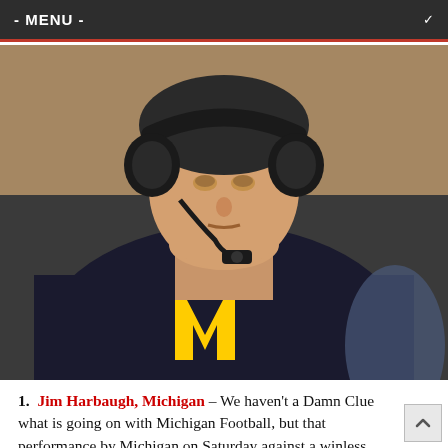- MENU -
[Figure (photo): Close-up photo of Jim Harbaugh wearing a Michigan Wolverines dark blue sweatshirt with yellow M logo and a coaching headset]
1. Jim Harbaugh, Michigan – We haven't a Damn Clue what is going on with Michigan Football, but that performance by Michigan on Saturday against a winless Penn State team was easily...